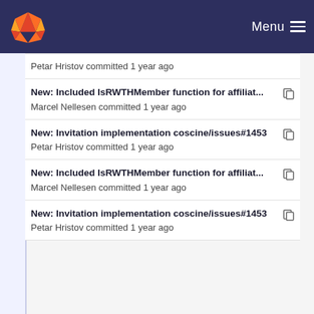Menu
Petar Hristov committed 1 year ago
New: Included IsRWTHMember function for affiliat...
Marcel Nellesen committed 1 year ago
New: Invitation implementation coscine/issues#1453
Petar Hristov committed 1 year ago
New: Included IsRWTHMember function for affiliat...
Marcel Nellesen committed 1 year ago
New: Invitation implementation coscine/issues#1453
Petar Hristov committed 1 year ago